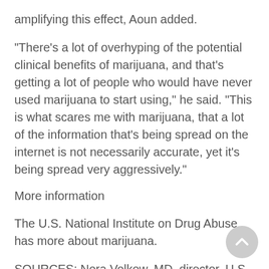amplifying this effect, Aoun added.
"There's a lot of overhyping of the potential clinical benefits of marijuana, and that's getting a lot of people who would have never used marijuana to start using," he said. "This is what scares me with marijuana, that a lot of the information that's being spread on the internet is not necessarily accurate, yet it's being spread very aggressively."
More information
The U.S. National Institute on Drug Abuse has more about marijuana.
SOURCES: Nora Volkow, MD, director, U.S. National Institute on Drug Abuse, Bethesda, Md.; Elie Aoun, MD, addiction psychiatrist, Columbia University College of Physicians and Surgeons, New York City; Mitch